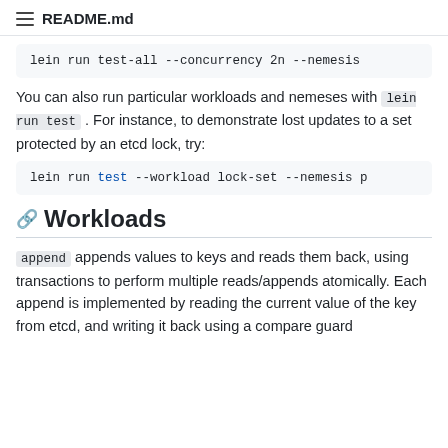README.md
lein run test-all --concurrency 2n --nemesis
You can also run particular workloads and nemeses with lein run test . For instance, to demonstrate lost updates to a set protected by an etcd lock, try:
lein run test --workload lock-set --nemesis p
Workloads
append appends values to keys and reads them back, using transactions to perform multiple reads/appends atomically. Each append is implemented by reading the current value of the key from etcd, and writing it back using a compare guard